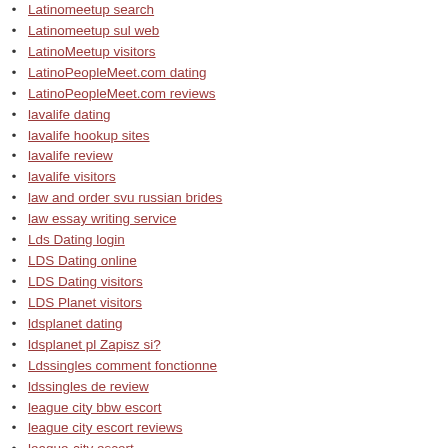Latinomeetup search
Latinomeetup sul web
LatinoMeetup visitors
LatinoPeopleMeet.com dating
LatinoPeopleMeet.com reviews
lavalife dating
lavalife hookup sites
lavalife review
lavalife visitors
law and order svu russian brides
law essay writing service
Lds Dating login
LDS Dating online
LDS Dating visitors
LDS Planet visitors
ldsplanet dating
ldsplanet pl Zapisz si?
Ldssingles comment fonctionne
ldssingles de review
league city bbw escort
league city escort reviews
league-city escort
legalni bukmacherzy ranking-
legalny bukmacher w polsce
legit installment loans online
legit mail order brides